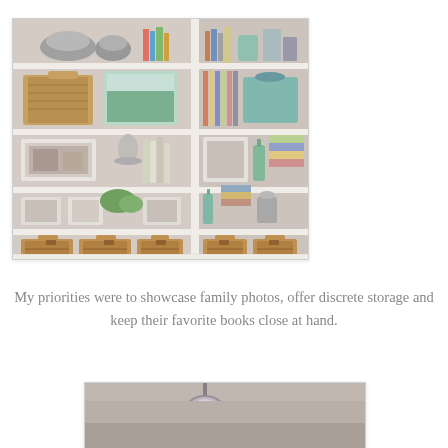[Figure (photo): White built-in bookshelves styled with wicker baskets, framed family photos, books, decorative objects, and glass bottles. Two-column shelving unit with multiple shelves.]
My priorities were to showcase family photos, offer discrete storage and keep their favorite books close at hand.
[Figure (photo): Partial view of a room with a pendant light fixture and gray wall, partially cropped at the bottom of the page.]